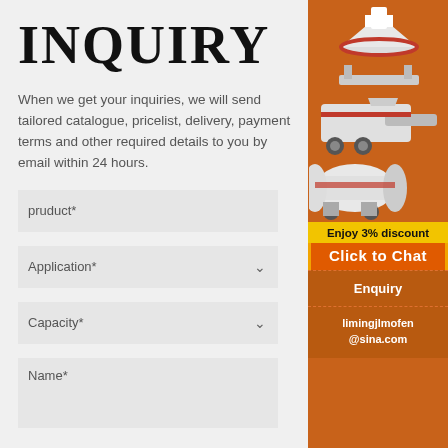INQUIRY
When we get your inquiries, we will send tailored catalogue, pricelist, delivery, payment terms and other required details to you by email within 24 hours.
pruduct*
Application*
Capacity*
Name*
[Figure (illustration): Orange sidebar showing industrial mining/crushing machinery images stacked vertically, with promotional text 'Enjoy 3% discount' and 'Click to Chat' button, plus Enquiry section and contact email limingjlmofen@sina.com]